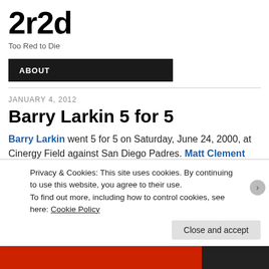2r2d
Too Red to Die
ABOUT
JANUARY 4, 2012
Barry Larkin 5 for 5
Barry Larkin went 5 for 5 on Saturday, June 24, 2000, at Cinergy Field against San Diego Padres. Matt Clement started that day for the Padres. Brandon Kolb and Carlos Almanzar also pitched for San Diego that day. The Reds went on to win that game 11 to 5. Ron Villone got the win and B
Privacy & Cookies: This site uses cookies. By continuing to use this website, you agree to their use. To find out more, including how to control cookies, see here: Cookie Policy
Close and accept